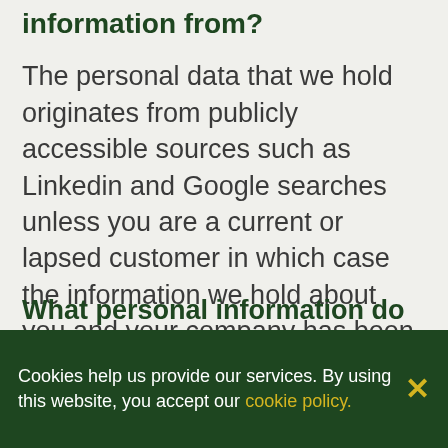information from?
The personal data that we hold originates from publicly accessible sources such as Linkedin and Google searches unless you are a current or lapsed customer in which case the information we hold about you and your company has been provided by you as part of our contractual obligations with you at that time.
Cookies help us provide our services. By using this website, you accept our cookie policy.